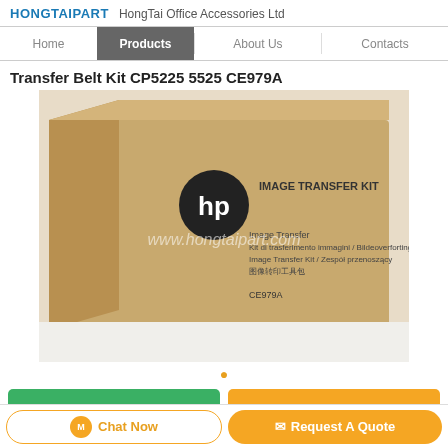HONGTAIPART  HongTai Office Accessories Ltd
Home | Products | About Us | Contacts
Transfer Belt Kit CP5225 5525 CE979A
[Figure (photo): HP Image Transfer Kit CE979A product box photo with watermark www.hongtaipart.com]
Get Best Price  Contact Us  Chat Now  Request A Quote